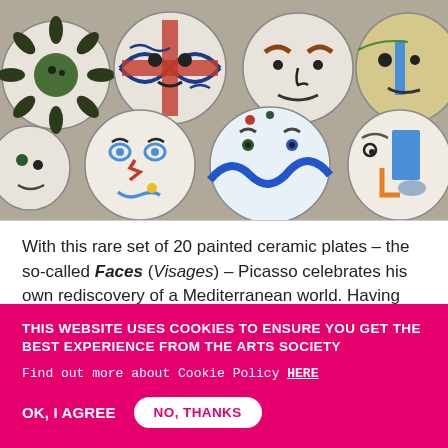[Figure (photo): A collection of round hand-painted ceramic plates (Picasso-style Faces / Visages), arranged in two rows, each plate decorated with abstract facial features in blue, red, green, black, and other colors on a white ceramic background.]
With this rare set of 20 painted ceramic plates – the so-called Faces (Visages) – Picasso celebrates his own rediscovery of a Mediterranean world. Having moved away from Paris, and unable to return to his native Spain, he turns to France, the city in a sign…
THIS WEBSITE USES COOKIES TO ENSURE YOU GET THE BEST EXPERIENCE FROM THE ARTS SOCIETY
Find out more about Cookie Policy HERE
OK, I AGREE
NO, THANKS